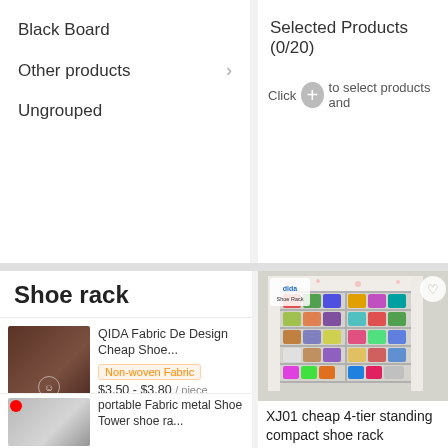Black Board
Other products
Ungrouped
Selected Products (0/20)
Click + to select products and
Shoe rack
QIDA Fabric De Design Cheap Shoe...
Non-woven Fabric
$3.50 - $3.80 / piece
1 piece (Min. Order)
portable Fabric metal Shoe Tower shoe ra...
$3.50 - $3.80 / piece
1 piece (Min. Order)
QIDA Amazing 10 tiers shoe rack...
$8.00 / piece
[Figure (photo): Large shoe rack cabinet with floral fabric cover, multiple tiers holding colorful shoes, with logo badge top-left and heart icon top-right]
XJ01 cheap 4-tier standing compact shoe rack cabinet...
$3.50 - $3.80 / piece